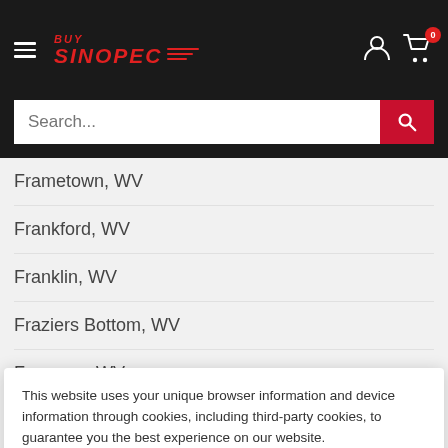[Figure (screenshot): BuySinopec website header with hamburger menu, logo, user icon, and cart icon with badge showing 0]
[Figure (screenshot): Search bar with placeholder text 'Search...' and red search button]
Frametown, WV
Frankford, WV
Franklin, WV
Fraziers Bottom, WV
Freeman, WV
French Creek, WV
Frenchton, WV
This website uses your unique browser information and device information through cookies, including third-party cookies, to guarantee you the best experience on our website.
Gallagher, WV